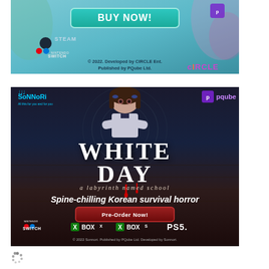[Figure (illustration): Top advertisement banner for a game on Steam and Nintendo Switch. Teal/cyan background with decorative floral elements. Features a 'BUY NOW!' button, copyright text '© 2022. Developed by CIRCLE Ent. Published by PQube Ltd.' with Steam, Nintendo Switch, PQube and CIRCLE logos.]
[Figure (illustration): Advertisement for White Day: A Labyrinth Named School game. Dark atmospheric background with wooden floor texture. Shows an anime-style girl character with dark hair. Large stylized title 'WHITE DAY' with subtitle 'a labyrinth named school'. Text reads 'Spine-chilling Korean survival horror' and 'Pre-Order Now!' button. Platform logos: Nintendo Switch, Xbox X, Xbox S, PS5. Copyright: '© 2022 Sonnori. Published by PQube Ltd. Developed by Sonnori.' Sonnori and PQube logos visible.]
[Figure (other): Loading spinner indicator at bottom left of page]